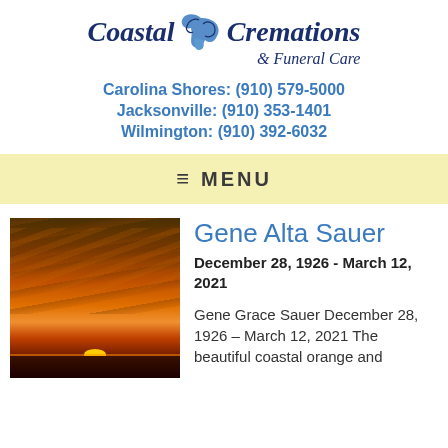[Figure (logo): Coastal Cremations & Funeral Care logo with dove graphic]
Carolina Shores: (910) 579-5000
Jacksonville: (910) 353-1401
Wilmington: (910) 392-6032
MENU
Gene Alta Sauer
December 28, 1926 - March 12, 2021
[Figure (photo): Sunset over the ocean with orange and golden clouds and sun setting on the horizon]
Gene Grace Sauer December 28, 1926 – March 12, 2021 The beautiful coastal orange and